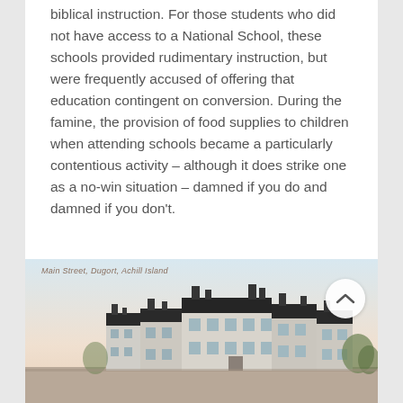biblical instruction. For those students who did not have access to a National School, these schools provided rudimentary instruction, but were frequently accused of offering that education contingent on conversion. During the famine, the provision of food supplies to children when attending schools became a particularly contentious activity – although it does strike one as a no-win situation – damned if you do and damned if you don't.
[Figure (photo): Old postcard photograph of a street scene in Dugort, Achill Island, showing a row of white two-storey buildings with dark roofs and chimneys.]